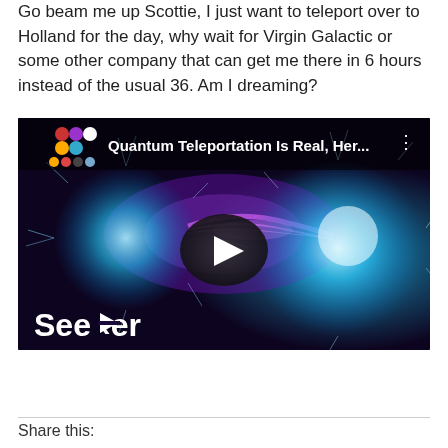Go beam me up Scottie, I just want to teleport over to Holland for the day, why wait for Virgin Galactic or some other company that can get me there in 6 hours instead of the usual 36. Am I dreaming?
[Figure (screenshot): YouTube video thumbnail for 'Quantum Teleportation Is Real, Her...' from the Seeker channel, showing two glowing blue energy orbs connected by a beam on a dark purple background, with the Seeker logo in the bottom left and a play button in the center.]
Share this: